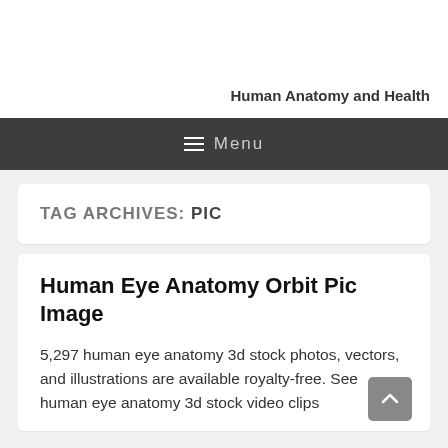Human Anatomy and Health
Menu
TAG ARCHIVES: PIC
Human Eye Anatomy Orbit Pic Image
5,297 human eye anatomy 3d stock photos, vectors, and illustrations are available royalty-free. See human eye anatomy 3d stock video clips